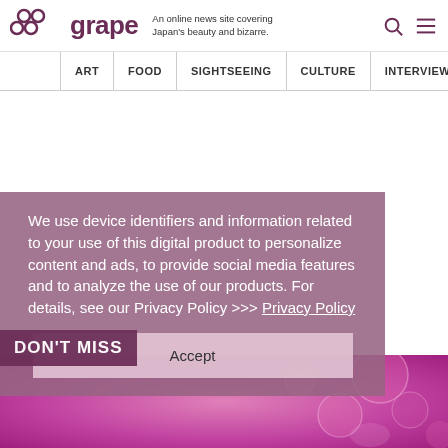grape — An online news site covering Japan's beauty and bizarre.
ART | FOOD | SIGHTSEEING | CULTURE | INTERVIEW
We use device identifiers and information related to your use of this digital product to personalize content and ads, to provide social media features and to analyze the use of our products. For details, see our Privacy Policy >>> Privacy Policy
Accept
DON'T MISS
[Figure (photo): Pink/magenta blurred background with circular bokeh shapes, partial view of a person's face at bottom]